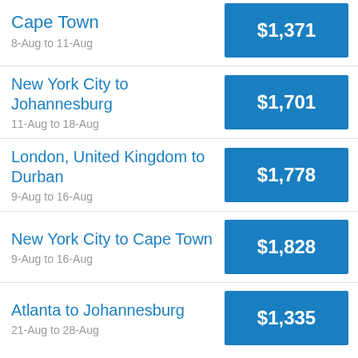Cape Town | 8-Aug to 11-Aug | $1,371
New York City to Johannesburg | 11-Aug to 18-Aug | $1,701
London, United Kingdom to Durban | 9-Aug to 16-Aug | $1,778
New York City to Cape Town | 9-Aug to 16-Aug | $1,828
Atlanta to Johannesburg | 21-Aug to 28-Aug | $1,335